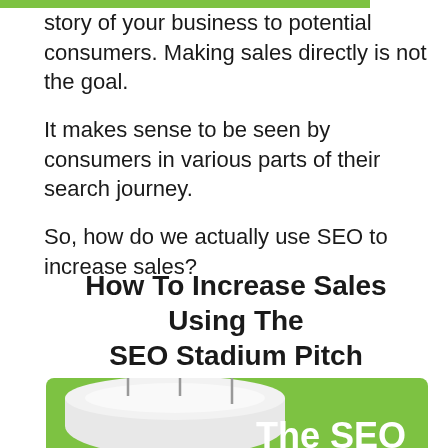story of your business to potential consumers. Making sales directly is not the goal.
It makes sense to be seen by consumers in various parts of their search journey.
So, how do we actually use SEO to increase sales?
How To Increase Sales Using The SEO Stadium Pitch
[Figure (illustration): Green infographic panel with white stadium illustration topped by three red flags, and bold white text reading 'The SEO Stadium']